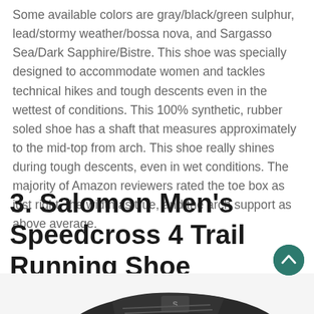Some available colors are gray/black/green sulphur, lead/stormy weather/bossa nova, and Sargasso Sea/Dark Sapphire/Bistre. This shoe was specially designed to accommodate women and tackles technical hikes and tough descents even in the wettest of conditions. This 100% synthetic, rubber soled shoe has a shaft that measures approximately to the mid-top from arch. This shoe really shines during tough descents, even in wet conditions. The majority of Amazon reviewers rated the toe box as just right, the width as true, and the arch support as above average.
3. Salomon Men's Speedcross 4 Trail Running Shoe
[Figure (photo): Partial image of a black Salomon trail running shoe, viewed from the side/top, cropped at the bottom of the page.]